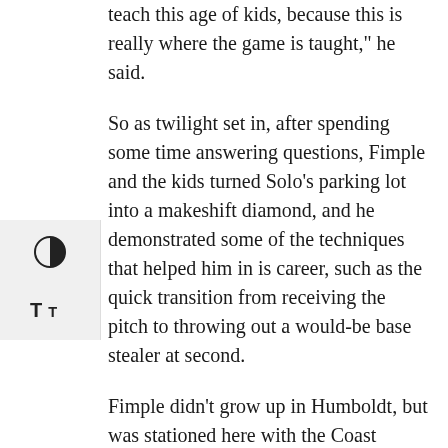teach this age of kids, because this is really where the game is taught," he said.
So as twilight set in, after spending some time answering questions, Fimple and the kids turned Solo's parking lot into a makeshift diamond, and he demonstrated some of the techniques that helped him in is career, such as the quick transition from receiving the pitch to throwing out a would-be base stealer at second.
Fimple didn't grow up in Humboldt, but was stationed here with the Coast Guard when he was a young man. He heard about the Crabs, decided to try out, and made the team, playing mostly third base and designated hitter. And